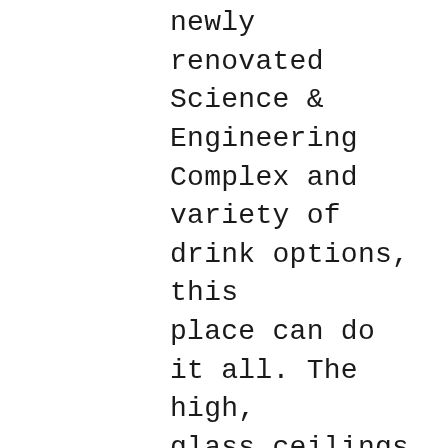newly renovated Science & Engineering Complex and variety of drink options, this place can do it all. The high, glass ceilings let in plenty of natural light and are perfect for daydreaming in-between homework assignments -- I know my head gets lost in the clouds sometimes. I believe this place is the best for a reason, be sure to check it out!